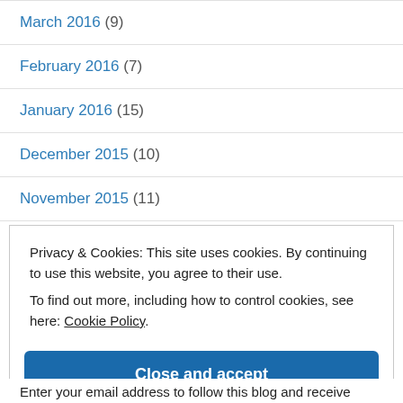March 2016 (9)
February 2016 (7)
January 2016 (15)
December 2015 (10)
November 2015 (11)
Privacy & Cookies: This site uses cookies. By continuing to use this website, you agree to their use. To find out more, including how to control cookies, see here: Cookie Policy
Close and accept
Enter your email address to follow this blog and receive